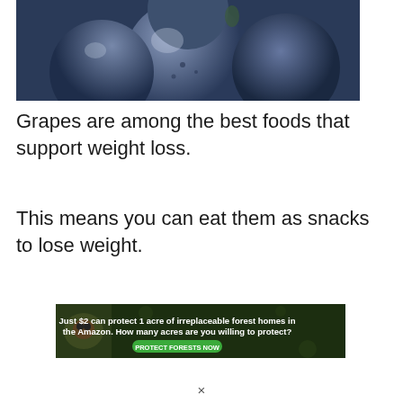[Figure (photo): Close-up photograph of dark blue/purple grapes clustered together]
Grapes are among the best foods that support weight loss.
This means you can eat them as snacks to lose weight.
[Figure (infographic): Advertisement banner: 'Just $2 can protect 1 acre of irreplaceable forest homes in the Amazon. How many acres are you willing to protect?' with a green 'PROTECT FORESTS NOW' button and an image of a rainforest animal]
×